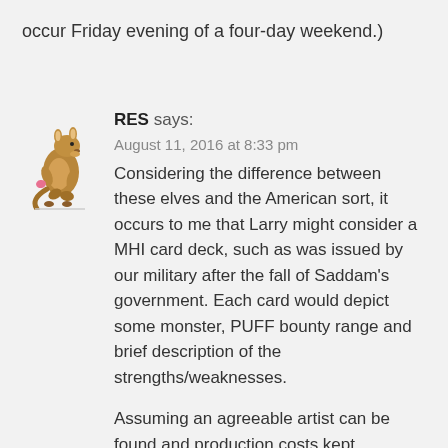occur Friday evening of a four-day weekend.)
[Figure (illustration): Small kangaroo/wallaby holding something pink, cartoon-like illustration used as a blog comment avatar]
RES says:
August 11, 2016 at 8:33 pm
Considering the difference between these elves and the American sort, it occurs to me that Larry might consider a MHI card deck, such as was issued by our military after the fall of Saddam's government. Each card would depict some monster, PUFF bounty range and brief description of the strengths/weaknesses.

Assuming an agreeable artist can be found and production costs kept reasonable I suspect these could be a